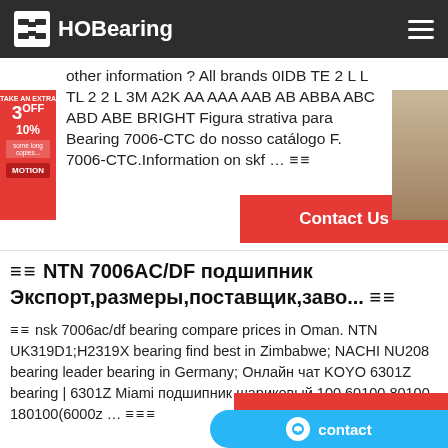HOBearing
other information ? All brands 0IDB TE 2 L L TL 2 2 L 3M A2K AA AAA AAB AB ABBA ABC ABD ABE BRIGHT Figura strativa para Bearing 7006-CTC do nosso catálogo F. 7006-CTC.Information on skf ... ≡≡
≡≡ NTN 7006AC/DF подшипник Экспорт,размеры,поставщик,заво... ≡≡
≡≡ nsk 7006ac/df bearing compare prices in Oman. NTN UK319D1;H2319X bearing find best in Zimbabwe; NACHI NU208 bearing leader bearing in Germany; Онлайн чат KOYO 6301Z bearing | 6301Z Miami подшипник шариковый 100 60100 80100 180100(6000z ... ≡≡≡